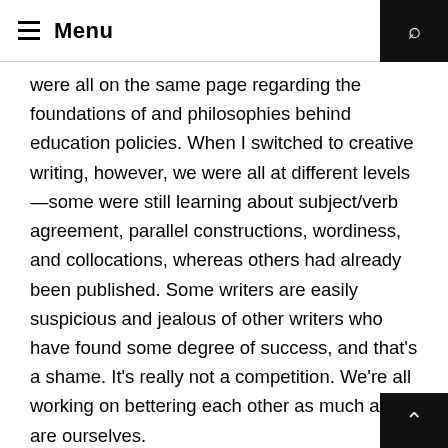Menu
were all on the same page regarding the foundations of and philosophies behind education policies. When I switched to creative writing, however, we were all at different levels—some were still learning about subject/verb agreement, parallel constructions, wordiness, and collocations, whereas others had already been published. Some writers are easily suspicious and jealous of other writers who have found some degree of success, and that's a shame. It's really not a competition. We're all working on bettering each other as much as we are ourselves. my advice would be to face negativity with heart, and